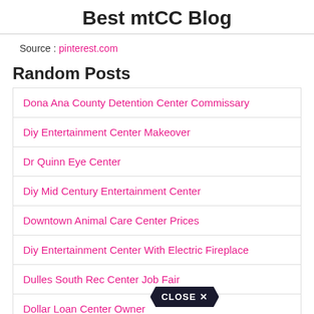Best mtCC Blog
Source : pinterest.com
Random Posts
Dona Ana County Detention Center Commissary
Diy Entertainment Center Makeover
Dr Quinn Eye Center
Diy Mid Century Entertainment Center
Downtown Animal Care Center Prices
Diy Entertainment Center With Electric Fireplace
Dulles South Rec Center Job Fair
Dollar Loan Center Owner